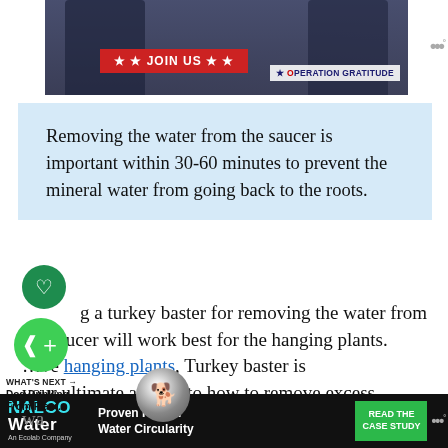[Figure (photo): Advertisement photo showing people in military uniforms, with a red 'JOIN US' button overlay and 'Operation Gratitude' logo]
Removing the water from the saucer is important within 30-60 minutes to prevent the mineral water from going back to the roots.
...g a turkey baster for removing the water from the saucer will work best for the hanging plants. ...ave hanging plants, Turkey baster is your ultimate answer to how to remove excess wa...
WHAT'S NEXT → Dog Drinking From Plant...
[Figure (photo): Small circular thumbnail of a dog drinking from a plant]
[Figure (logo): NALCO Water - An Ecolab Company advertisement banner. Text: Proven ROI for Water Circularity. READ THE CASE STUDY button.]